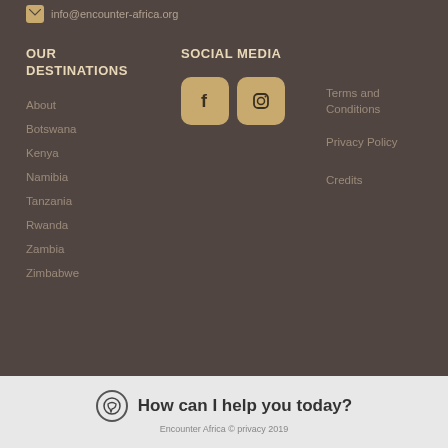info@encounter-africa.org
OUR DESTINATIONS
About
Botswana
Kenya
Namibia
Tanzania
Rwanda
Zambia
Zimbabwe
SOCIAL MEDIA
[Figure (logo): Facebook and Instagram social media icons as rounded square buttons in tan/gold color]
Terms and Conditions
Privacy Policy
Credits
How can I help you today?
Encounter Africa © privacy 2019